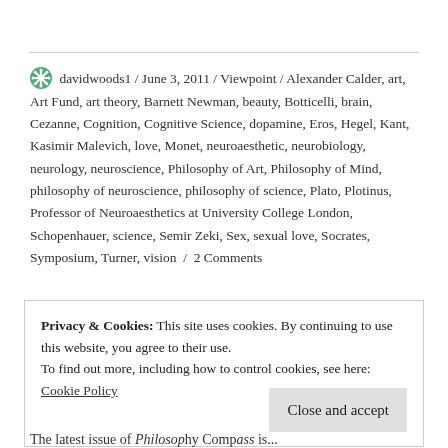davidwoods1 / June 3, 2011 / Viewpoint / Alexander Calder, art, Art Fund, art theory, Barnett Newman, beauty, Botticelli, brain, Cezanne, Cognition, Cognitive Science, dopamine, Eros, Hegel, Kant, Kasimir Malevich, love, Monet, neuroaesthetic, neurobiology, neurology, neuroscience, Philosophy of Art, Philosophy of Mind, philosophy of neuroscience, philosophy of science, Plato, Plotinus, Professor of Neuroaesthetics at University College London, Schopenhauer, science, Semir Zeki, Sex, sexual love, Socrates, Symposium, Turner, vision / 2 Comments
Privacy & Cookies: This site uses cookies. By continuing to use this website, you agree to their use. To find out more, including how to control cookies, see here: Cookie Policy
The latest issue of Philosophy Compass is...